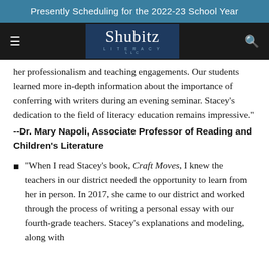Presently Scheduling for the 2022-23 School Year
[Figure (logo): Shubitz Literacy LLC logo — white script text on dark navy background with subtitle text]
her professionalism and teaching engagements. Our students learned more in-depth information about the importance of conferring with writers during an evening seminar. Stacey's dedication to the field of literacy education remains impressive."
--Dr. Mary Napoli, Associate Professor of Reading and Children's Literature
"When I read Stacey's book, Craft Moves, I knew the teachers in our district needed the opportunity to learn from her in person. In 2017, she came to our district and worked through the process of writing a personal essay with our fourth-grade teachers. Stacey's explanations and modeling, along with